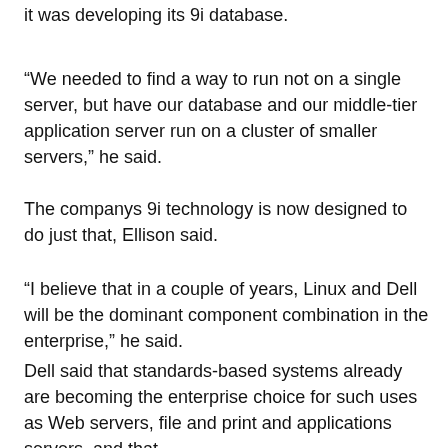it was developing its 9i database.
“We needed to find a way to run not on a single server, but have our database and our middle-tier application server run on a cluster of smaller servers,” he said.
The companys 9i technology is now designed to do just that, Ellison said.
“I believe that in a couple of years, Linux and Dell will be the dominant component combination in the enterprise,” he said.
Dell said that standards-based systems already are becoming the enterprise choice for such uses as Web servers, file and print and applications servers, and that eventually they will overtake Unix-based servers in the more complex...hip